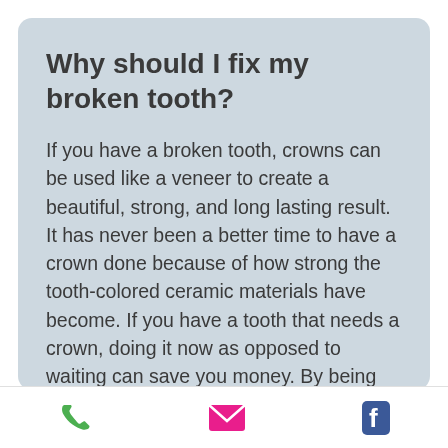Why should I fix my broken tooth?
If you have a broken tooth, crowns can be used like a veneer to create a beautiful, strong, and long lasting result. It has never been a better time to have a crown done because of how strong the tooth-colored ceramic materials have become. If you have a tooth that needs a crown, doing it now as opposed to waiting can save you money. By being proactive, you can often avoid a root canal, or even loss of a tooth by doing the crown before it becomes a bigger
[Figure (infographic): Bottom navigation bar with phone icon (green), email envelope icon (pink/magenta), and Facebook icon (blue)]